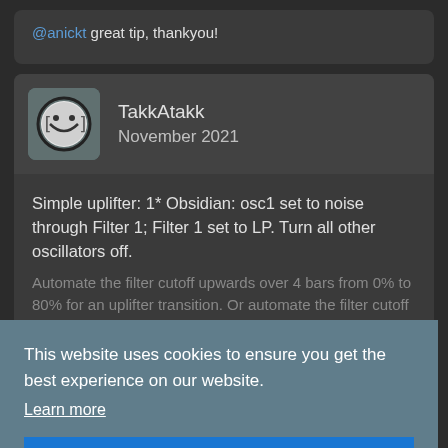@anickt great tip, thankyou!
TakkAtakk
November 2021
Simple uplifter: 1* Obsidian: osc1 set to noise through Filter 1; Filter 1 set to LP. Turn all other oscillators off. Automate the filter cutoff upwards over 4 bars from 0% to 80% for an uplifter transition. Or automate the filter cutoff downwards over 4 bars from 80% to 0% for a downlifter transition. Add fx, increase the reso of filter 1, change the filter type to BP or HP, increase the voices, add a synced square wave bipolar lfo to Filter1 cutoff (or Osc1 volume), increase the number of voices. Add a bitcrusher effect. Experiment & have fun.
Or
This website uses cookies to ensure you get the best experience on our website.
Learn more
Got it!